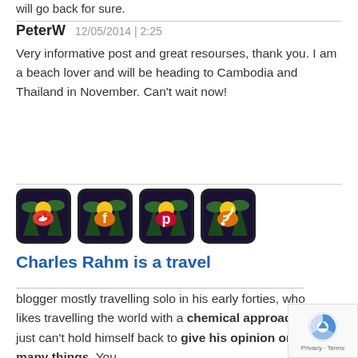will go back for sure.
PeterW   12/05/2014 | 2:25
Very informative post and great resourses, thank you. I am a beach lover and will be heading to Cambodia and Thailand in November. Can't wait now!
[Figure (illustration): Four social media icon buttons: Twitter, Facebook, Pinterest, RSS feed — styled with tropical palm tree theme on dark background]
Charles Rahm is a travel
blogger mostly travelling solo in his early forties, who likes travelling the world with a chemical approach and just can't hold himself back to give his opinion on many things. You